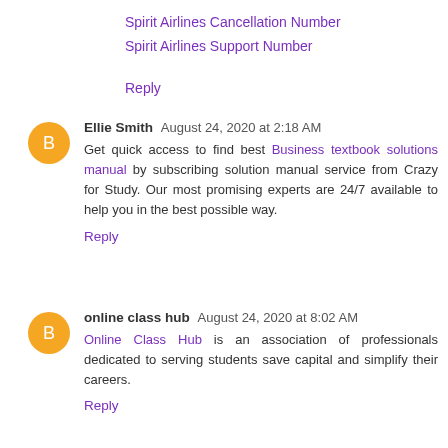Spirit Airlines Cancellation Number
Spirit Airlines Support Number
Reply
Ellie Smith  August 24, 2020 at 2:18 AM
Get quick access to find best Business textbook solutions manual by subscribing solution manual service from Crazy for Study. Our most promising experts are 24/7 available to help you in the best possible way.
Reply
online class hub  August 24, 2020 at 8:02 AM
Online Class Hub is an association of professionals dedicated to serving students save capital and simplify their careers.
Reply